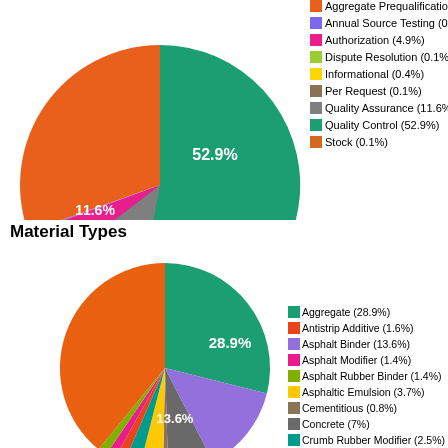[Figure (pie-chart): Test Types (top chart, partially visible)]
Material Types
[Figure (pie-chart): Material Types]